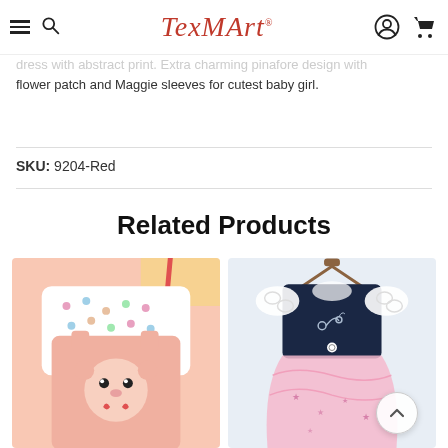TexMArt
dress with abstract print. Extra charming pinafore design with flower patch and Maggie sleeves for cutest baby girl.
SKU: 9204-Red
Related Products
[Figure (photo): Baby girl pink dungaree/pinafore set with polka dot shirt and cute animal face graphic]
[Figure (photo): Baby girl navy blue and white dress with lace sleeves and pink tulle skirt with star print, on hanger]